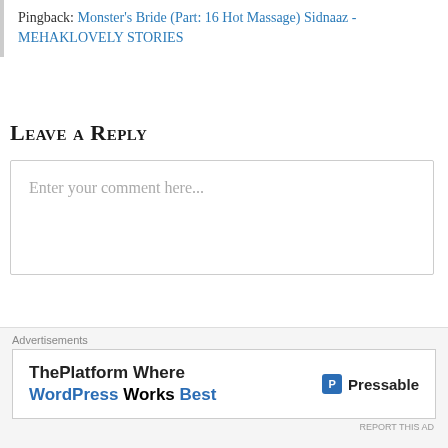Pingback: Monster's Bride (Part: 16 Hot Massage) Sidnaaz - MEHAKLOVELY STORIES
Leave a Reply
Enter your comment here...
Subscribe to Blog via Email
Enter your email address to subscribe to this blog and receive notifications of new posts by email.
[Figure (other): Advertisement banner: ThePlatform Where WordPress Works Best - Pressable]
Advertisements